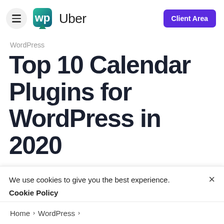WP Uber — Client Area
WordPress
Top 10 Calendar Plugins for WordPress in 2020
Author Tim | Published April 20. | 0 comments Join the
We use cookies to give you the best experience. Cookie Policy
Home › WordPress ›